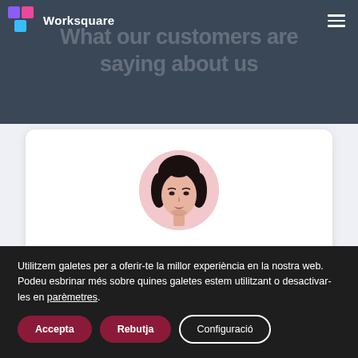Worksquare
What our customers are saying about us
[Figure (photo): Circular avatar photo of Stella Smith, a woman with dark hair]
Stella Smith
Utilitzem galetes per a oferir-te la millor experiència en la nostra web.
Podeu esbrinar més sobre quines galetes estem utilitzant o desactivar-les en parèmetres.
Accepta   Rebutja   Configuració